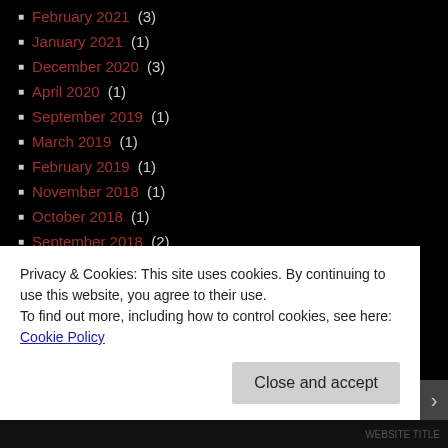February 2021 (3)
January 2021 (1)
December 2020 (3)
April 2020 (1)
September 2019 (1)
March 2019 (1)
February 2019 (1)
November 2018 (1)
October 2018 (1)
September 2018 (2)
August 2018 (2)
March 2018 (1)
February 2018 (3)
January 2018 (1)
October 2017 (1)
July 2017 (1)
Privacy & Cookies: This site uses cookies. By continuing to use this website, you agree to their use.
To find out more, including how to control cookies, see here: Cookie Policy